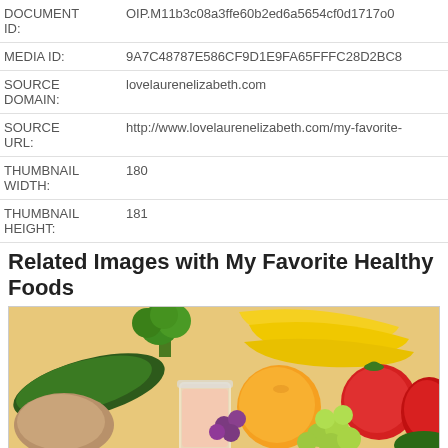| DOCUMENT ID: | OIP.M11b3c08a3ffe60b2ed6a5654cf0d1717o0 |
| MEDIA ID: | 9A7C48787E586CF9D1E9FA65FFFC28D2BC8 |
| SOURCE DOMAIN: | lovelaurenelizabeth.com |
| SOURCE URL: | http://www.lovelaurenelizabeth.com/my-favorite- |
| THUMBNAIL WIDTH: | 180 |
| THUMBNAIL HEIGHT: | 181 |
Related Images with My Favorite Healthy Foods
[Figure (photo): A colorful assortment of fresh fruits and vegetables including cucumber, broccoli, bananas, tomatoes, grapes, peaches, and a glass of milk/smoothie]